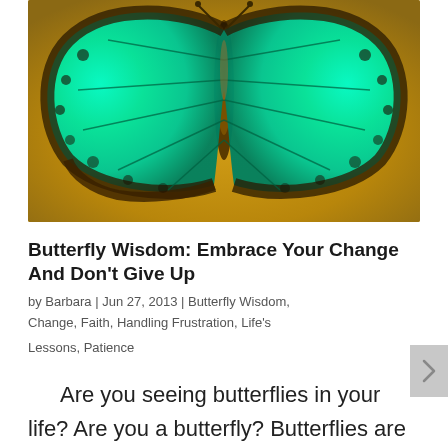[Figure (photo): Close-up photograph of a teal/turquoise morpho butterfly with spread wings against a golden/amber background, showing the lower half of the butterfly]
Butterfly Wisdom: Embrace Your Change And Don't Give Up
by Barbara | Jun 27, 2013 | Butterfly Wisdom, Change, Faith, Handling Frustration, Life's Lessons, Patience
Are you seeing butterflies in your life? Are you a butterfly? Butterflies are symbols of change. Through their metamorphosis from egg to